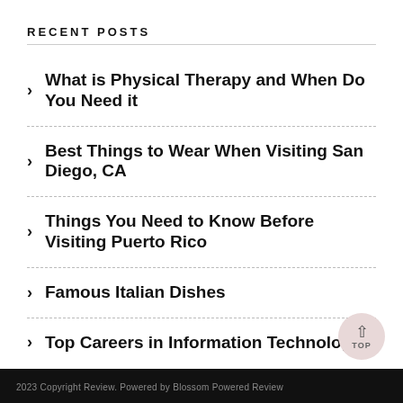RECENT POSTS
What is Physical Therapy and When Do You Need it
Best Things to Wear When Visiting San Diego, CA
Things You Need to Know Before Visiting Puerto Rico
Famous Italian Dishes
Top Careers in Information Technology
2023 Copyright Review. Powered by Blossom Powered Review